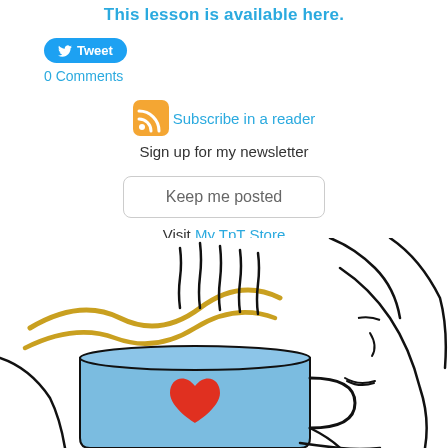This lesson is available here.
Tweet
0 Comments
Subscribe in a reader
Sign up for my newsletter
Keep me posted
Visit My TpT Store
[Figure (illustration): Line drawing illustration of a person holding a blue mug with a red heart, with yellow steam swirls rising from the mug]